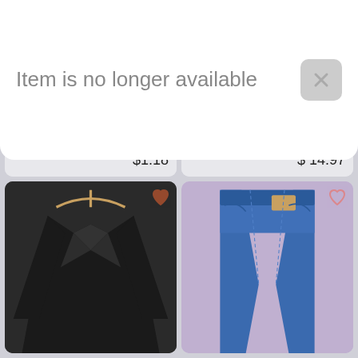[Figure (screenshot): Product listing grid showing 4 clothing items: ladies tunic tops, striped top, black blazer, and jeans]
Item is no longer available
ladies tunic tops size 20
$1.18
Rue 21 Striped Long
$ 14.97